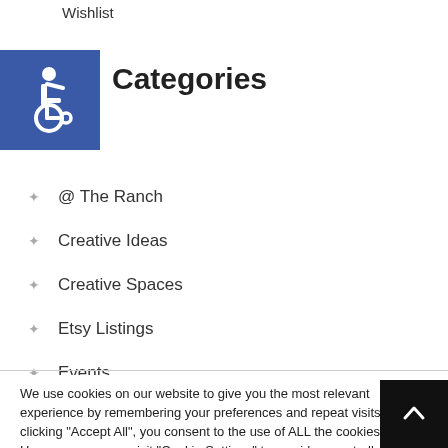Wishlist
[Figure (illustration): Blue square with white wheelchair accessibility icon]
Categories
@ The Ranch
Creative Ideas
Creative Spaces
Etsy Listings
Events
We use cookies on our website to give you the most relevant experience by remembering your preferences and repeat visits. By clicking "Accept All", you consent to the use of ALL the cookies. However, you may visit "Cookie Settings" to provide a controlled consent.
Cookie Settings | Accept All